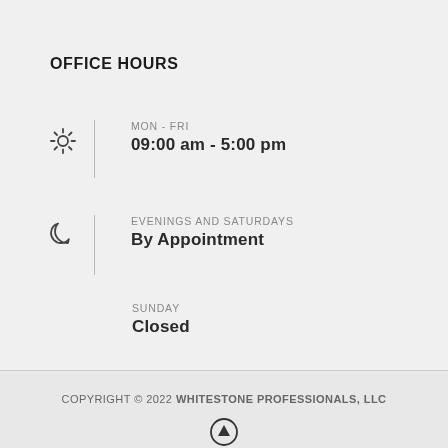OFFICE HOURS
MON - FRI
09:00 am - 5:00 pm
EVENINGS AND SATURDAYS
By Appointment
SUNDAY
Closed
COPYRIGHT © 2022 WHITESTONE PROFESSIONALS, LLC